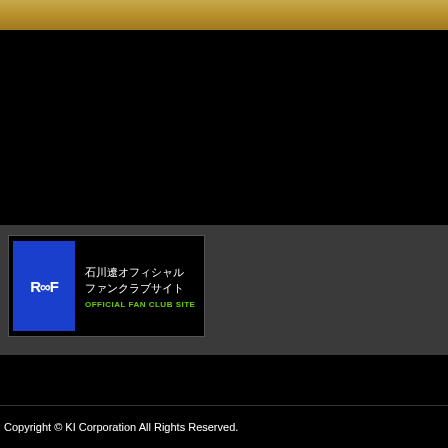[Figure (logo): Gold gradient bar at top of page]
[Figure (logo): RooF logo with Japanese text: 石川遼オフィシャルファンクラブサイト and green text: OFFICIAL FAN CLUB SITE on dark gray background]
Copyright © KI Corporation All Rights Reserved.